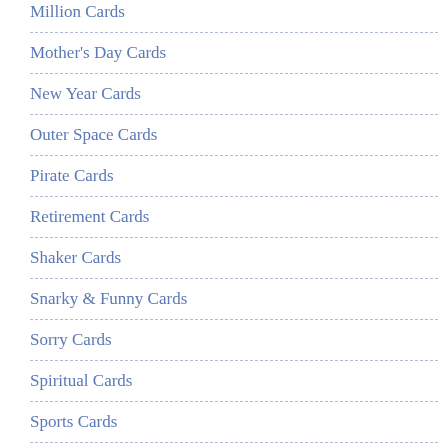Million Cards
Mother's Day Cards
New Year Cards
Outer Space Cards
Pirate Cards
Retirement Cards
Shaker Cards
Snarky & Funny Cards
Sorry Cards
Spiritual Cards
Sports Cards
Spring & Summer Cards
St. Patrick's Day Cards
Sweet Sentiment Cards
Sympathy Cards
Thank You Cards